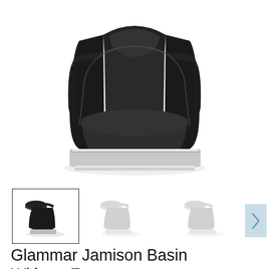[Figure (photo): Main product image: a black upholstered salon shampoo bowl chair (Glammar Jamison Basin) with silver/chrome base, shown from a perspective angle on white background]
[Figure (photo): Thumbnail row with three small images of the Glammar Jamison Basin: first thumbnail in color (black), second and third in gray/muted tones]
Glammar Jamison Basin Without Footrest